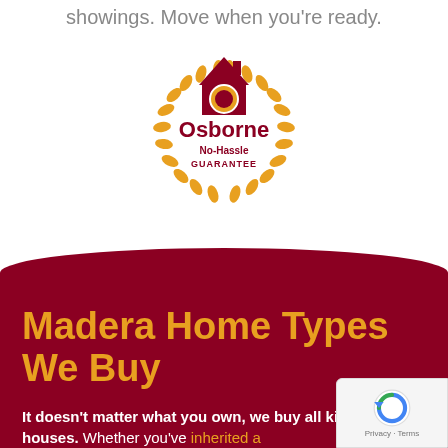showings. Move when you're ready.
[Figure (logo): Osborne No-Hassle Guarantee circular badge logo with a house icon, gold laurel wreath, and dark red text reading 'Osborne No-Hassle GUARANTEE']
Madera Home Types We Buy
It doesn't matter what you own, we buy all kinds of houses. Whether you've inherited a